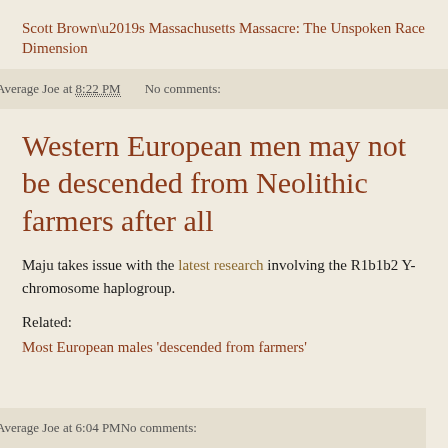Scott Brown’s Massachusetts Massacre: The Unspoken Race Dimension
Average Joe at 8:22 PM    No comments:
Western European men may not be descended from Neolithic farmers after all
Maju takes issue with the latest research involving the R1b1b2 Y-chromosome haplogroup.
Related:
Most European males 'descended from farmers'
Average Joe at 6:04 PM    No comments: